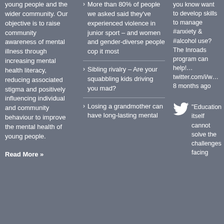young people and the wider community. Our objective is to raise community awareness of mental illness through increasing mental health literacy, reducing associated stigma and positively influencing individual and community behaviour to improve the mental health of young people.
Read More »
More than 80% of people we asked said they've experienced violence in junior sport – and women and gender-diverse people cop it most
Sibling rivalry – Are your squabbling kids driving you mad?
Losing a grandmother can have long-lasting mental
you know want to develop skills to manage #anxiety & #alcohol use? The Inroads program can help!… twitter.com/i/w… 8 months ago
"Education itself cannot solve the challenges facing